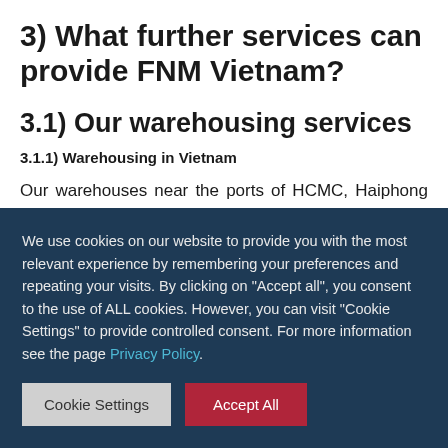3) What further services can provide FNM Vietnam?
3.1) Our warehousing services
3.1.1) Warehousing in Vietnam
Our warehouses near the ports of HCMC, Haiphong and Quy Nhon, can welcome your shipment during all the time required, before sending it to
We use cookies on our website to provide you with the most relevant experience by remembering your preferences and repeating your visits. By clicking on "Accept all", you consent to the use of ALL cookies. However, you can visit "Cookie Settings" to provide controlled consent. For more information see the page Privacy Policy.